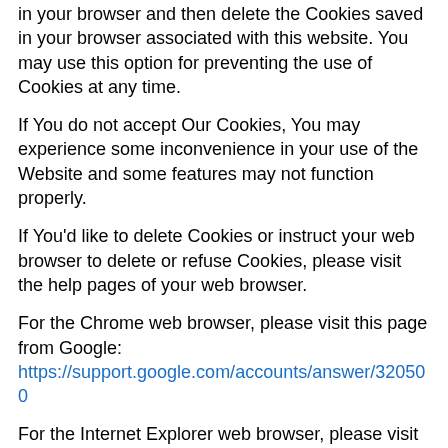in your browser and then delete the Cookies saved in your browser associated with this website. You may use this option for preventing the use of Cookies at any time.
If You do not accept Our Cookies, You may experience some inconvenience in your use of the Website and some features may not function properly.
If You'd like to delete Cookies or instruct your web browser to delete or refuse Cookies, please visit the help pages of your web browser.
For the Chrome web browser, please visit this page from Google: https://support.google.com/accounts/answer/32050
For the Internet Explorer web browser, please visit this page from Microsoft: http://support.microsoft.com/kb/278835
For the Firefox web browser, please visit this page from Mozilla: https://support.mozilla.org/en-US/kb/delete-cookies-remove-info-websites-stored
For the Safari web browser, please visit this page from Apple: